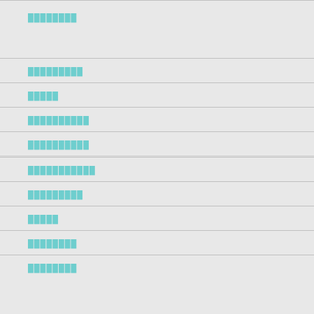████████
█████████
█████
██████████
██████████
███████████
█████████
█████
████████
████████